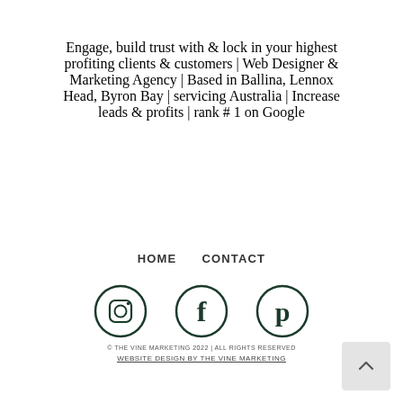Engage, build trust with & lock in your highest profiting clients & customers | Web Designer & Marketing Agency | Based in Ballina, Lennox Head, Byron Bay | servicing Australia | Increase leads & profits | rank # 1 on Google
HOME   CONTACT
[Figure (other): Three social media icons: Instagram, Facebook, Pinterest, rendered as circular outlines in dark green/black]
© THE VINE MARKETING 2022 | ALL RIGHTS RESERVED
WEBSITE DESIGN BY THE VINE MARKETING